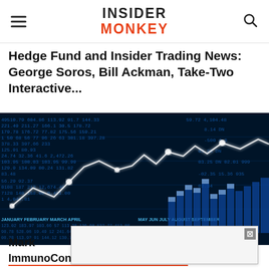INSIDER MONKEY
Hedge Fund and Insider Trading News: George Soros, Bill Ackman, Take-Two Interactive...
[Figure (photo): Stock market data screen with blue-tinted financial ticker numbers and a glowing white line chart overlaid on bar charts, showing JANUARY, FEBRUARY, MARCH, APRIL, MAY, JUN, JULY, AUGUST, SEPTEMBER labels along the bottom axis.]
Mark
ImmunoGen, Inc. (IMGN), Juniper...